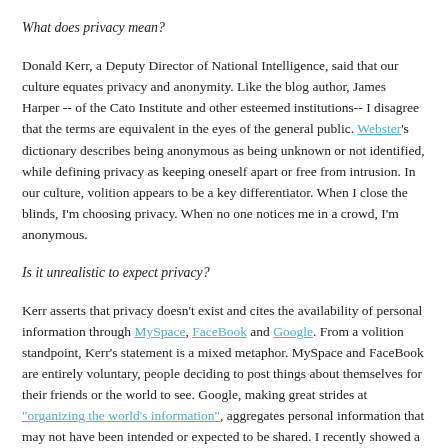What does privacy mean?
Donald Kerr, a Deputy Director of National Intelligence, said that our culture equates privacy and anonymity. Like the blog author, James Harper -- of the Cato Institute and other esteemed institutions-- I disagree that the terms are equivalent in the eyes of the general public. Webster's dictionary describes being anonymous as being unknown or not identified, while defining privacy as keeping oneself apart or free from intrusion. In our culture, volition appears to be a key differentiator. When I close the blinds, I'm choosing privacy. When no one notices me in a crowd, I'm anonymous.
Is it unrealistic to expect privacy?
Kerr asserts that privacy doesn't exist and cites the availability of personal information through MySpace, FaceBook and Google. From a volition standpoint, Kerr's statement is a mixed metaphor. MySpace and FaceBook are entirely voluntary, people deciding to post things about themselves for their friends or the world to see. Google, making great strides at "organizing the world's information", aggregates personal information that may not have been intended or expected to be shared. I recently showed a friend that in five minutes on Google I could find more than his professional profile -- I produced his home address, his parents, his religion, his political